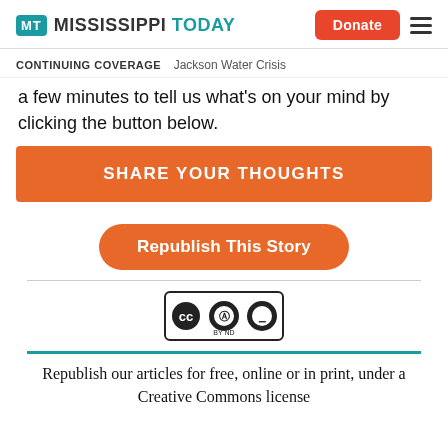Mississippi Today | Donate
CONTINUING COVERAGE  Jackson Water Crisis
a few minutes to tell us what's on your mind by clicking the button below.
SHARE YOUR THOUGHTS
Republish This Story
[Figure (logo): Creative Commons BY ND license badge]
Republish our articles for free, online or in print, under a Creative Commons license